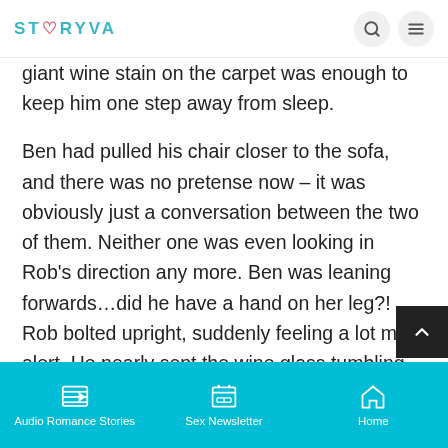STORYVA
giant wine stain on the carpet was enough to keep him one step away from sleep.

Ben had pulled his chair closer to the sofa, and there was no pretense now – it was obviously just a conversation between the two of them. Neither one was even looking in Rob's direction any more. Ben was leaning forwards…did he have a hand on her leg?! Rob bolted upright, suddenly feeling a lot more alert. He nearly sent the wine glass tumbling, but managed to catch it in time. Kate turned quickly at the commotion, and Ben glanced over. The other
Audio Romance Stories   Sex Newsletter   Home